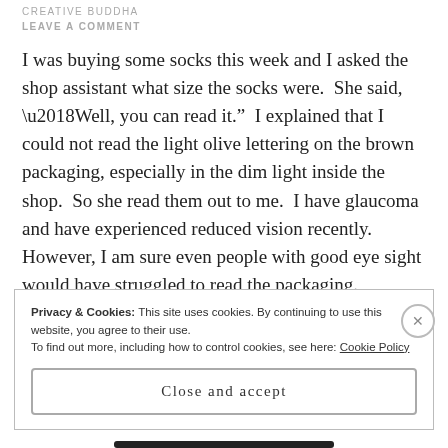CREATIVE BUDDHA
LEAVE A COMMENT
I was buying some socks this week and I asked the shop assistant what size the socks were. She said, ‘Well, you can read it.” I explained that I could not read the light olive lettering on the brown packaging, especially in the dim light inside the shop. So she read them out to me. I have glaucoma and have experienced reduced vision recently. However, I am sure even people with good eye sight would have struggled to read the packaging.
Privacy & Cookies: This site uses cookies. By continuing to use this website, you agree to their use.
To find out more, including how to control cookies, see here: Cookie Policy
Close and accept